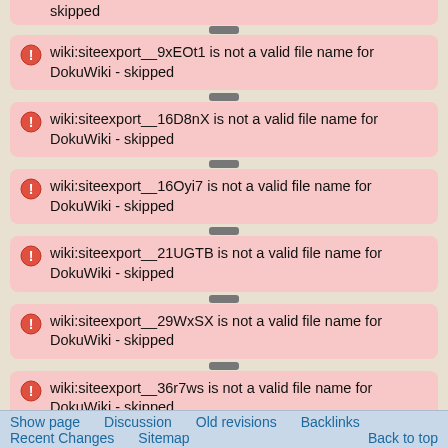wiki:siteexport__9xEOt1 is not a valid file name for DokuWiki - skipped
wiki:siteexport__16D8nX is not a valid file name for DokuWiki - skipped
wiki:siteexport__16Oyi7 is not a valid file name for DokuWiki - skipped
wiki:siteexport__21UGTB is not a valid file name for DokuWiki - skipped
wiki:siteexport__29WxSX is not a valid file name for DokuWiki - skipped
wiki:siteexport__36r7ws is not a valid file name for DokuWiki - skipped
wiki:siteexport__37CHQj is not a valid file name for DokuWiki - skipped
wiki:siteexport__39kisV is not a valid file name for DokuWiki - skipped
Show page   Discussion   Old revisions   Backlinks   Recent Changes   Sitemap   Back to top